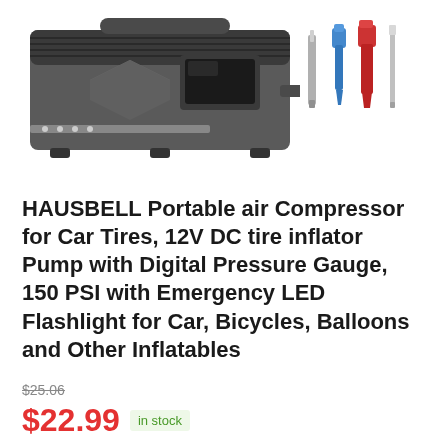[Figure (photo): Product photo of a HAUSBELL portable air compressor (dark gray/black unit) with accessories including inflation needles/nozzles in silver, blue, red colors shown separately in the upper right corner.]
HAUSBELL Portable air Compressor for Car Tires, 12V DC tire inflator Pump with Digital Pressure Gauge, 150 PSI with Emergency LED Flashlight for Car, Bicycles, Balloons and Other Inflatables
$25.06
$22.99  in stock
2 new from $22.99